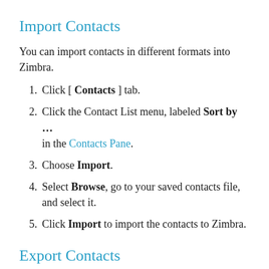Import Contacts
You can import contacts in different formats into Zimbra.
Click [ Contacts ] tab.
Click the Contact List menu, labeled Sort by … in the Contacts Pane.
Choose Import.
Select Browse, go to your saved contacts file, and select it.
Click Import to import the contacts to Zimbra.
Export Contacts
In Zimbra, you can export your contacts in various